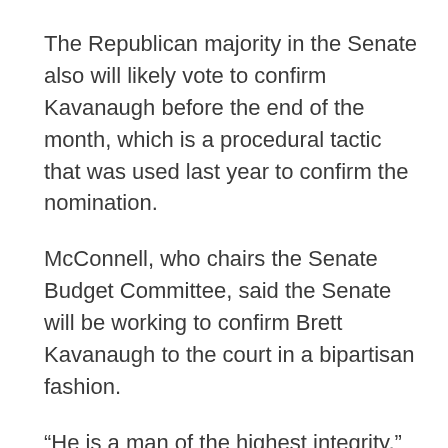The Republican majority in the Senate also will likely vote to confirm Kavanaugh before the end of the month, which is a procedural tactic that was used last year to confirm the nomination.
McConnell, who chairs the Senate Budget Committee, said the Senate will be working to confirm Brett Kavanaugh to the court in a bipartisan fashion.
“He is a man of the highest integrity,” McConnell said of Kavanaugh.
“He has never been in a conflict of interest.
He has never received money from the Clintons, and that